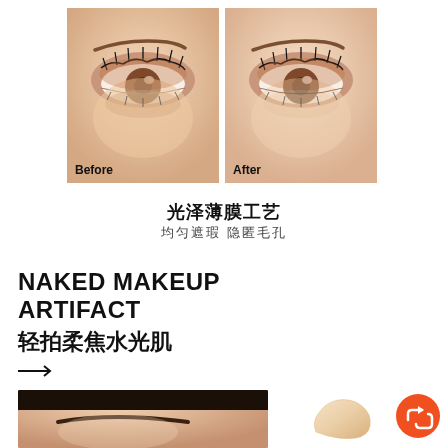[Figure (photo): Before and After comparison photos showing close-up of an eye with skin underneath. Left photo labeled 'Before', right photo labeled 'After', showing skin improvement with makeup product.]
光泽薄膜工艺
均匀遮瑕 隐匿毛孔
NAKED MAKEUP ARTIFACT
轻拍柔焦水光肌
[Figure (photo): Bottom portion showing a woman's face forehead/eyebrow area with dark hair, and a cream product swipe on the right, plus an orange share/forward button icon.]